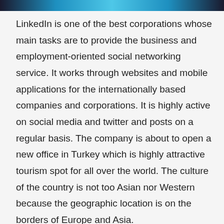[Figure (photo): Top image bar showing a partial photograph, appears to be a person or scene with blue tones]
LinkedIn is one of the best corporations whose main tasks are to provide the business and employment-oriented social networking service. It works through websites and mobile applications for the internationally based companies and corporations. It is highly active on social media and twitter and posts on a regular basis. The company is about to open a new office in Turkey which is highly attractive tourism spot for all over the world. The culture of the country is not too Asian nor Western because the geographic location is on the borders of Europe and Asia.
The people who are deployed over there are required to